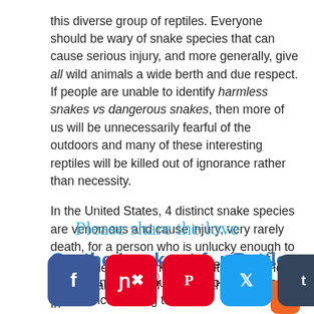this diverse group of reptiles. Everyone should be wary of snake species that can cause serious injury, and more generally, give all wild animals a wide berth and due respect. If people are unable to identify harmless snakes vs dangerous snakes, then more of us will be unnecessarily fearful of the outdoors and many of these interesting reptiles will be killed out of ignorance rather than necessity.
In the United States, 4 distinct snake species are venomous and cause injury, very rarely death, for a person who is unlucky enough to get bitten. Here are ways to identify these snakes and what you can do to reduce your risk of encountering them.
On the Lookout for Rattlesnakes
One of the most dangerous but, luckily, most recognizable type of snake is the rattlesnake. In